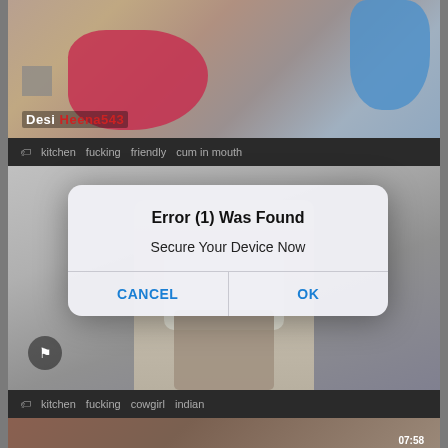[Figure (screenshot): Screenshot of a video website showing two video thumbnails with explicit content tags, overlaid by a mobile OS alert dialog reading 'Error (1) Was Found' / 'Secure Your Device Now' with CANCEL and OK buttons. Top thumbnail shows people in colored garments with channel label 'Desi Heena543'. Tags row shows: kitchen, fucking, friendly, cum in mouth. Second thumbnail shows a figure seated. Tags row shows: kitchen, fucking, cowgirl, indian. Bottom partial thumbnail visible. A timer '07:58' is in the bottom-right corner of the bottom thumbnail.]
Desi Heena543
kitchen   fucking   friendly   cum in mouth
Error (1) Was Found
Secure Your Device Now
CANCEL
OK
kitchen   fucking   cowgirl   indian
07:58